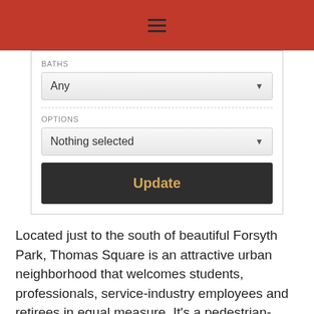[Figure (screenshot): Red navigation header bar with hamburger menu icon (three horizontal lines)]
BATHS
[Figure (screenshot): Dropdown select box showing 'Any' with down arrow]
OPTIONS
[Figure (screenshot): Dropdown select box showing 'Nothing selected' with down arrow]
[Figure (screenshot): Dark button with text 'Update' in gold/tan color]
Located just to the south of beautiful Forsyth Park, Thomas Square is an attractive urban neighborhood that welcomes students, professionals, service-industry employees and retirees in equal measure. It's a pedestrian-friendly part of historic Savannah that offers easy access to the heart of the city as well as the suburban shopping districts that keep it humming. It's